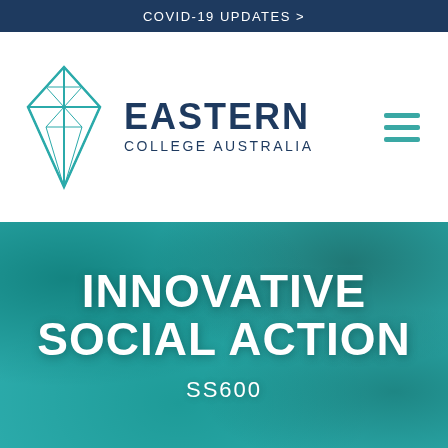COVID-19 UPDATES >
[Figure (logo): Eastern College Australia logo: teal geometric diamond/kite shape with internal line structure, beside bold navy text 'EASTERN COLLEGE AUSTRALIA']
INNOVATIVE SOCIAL ACTION
SS600